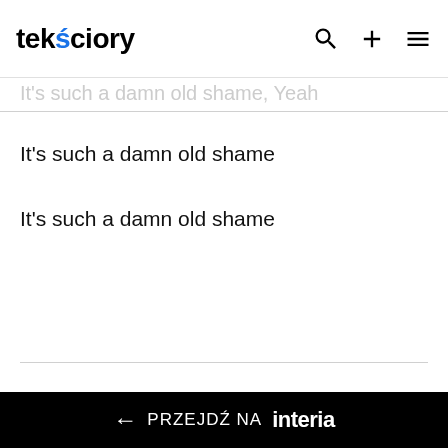tekściory
It's such a damn old shame, Yeah
It's such a damn old shame
It's such a damn old shame
[Figure (logo): tekściory watermark logo in light gray with REKLAMA label below]
← PRZEJDŹ NA interia